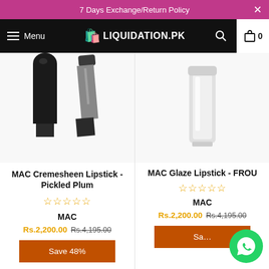7 Days Exchange/Return Policy
Menu  LIQUIDATION.PK  0
[Figure (photo): Two MAC lipsticks with black caps on white background]
MAC Cremesheen Lipstick - Pickled Plum
★★★★★ (empty stars)
MAC
Rs.2,200.00  Rs.4,195.00
Save 48%
[Figure (photo): MAC lipstick in white/light packaging on white background]
MAC Glaze Lipstick - FROU
★★★★★ (empty stars)
MAC
Rs.2,200.00  Rs.4,195.00
Sa...